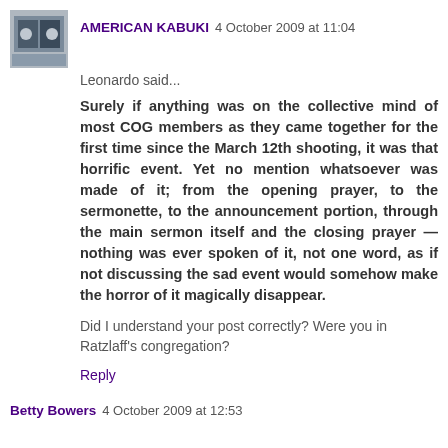AMERICAN KABUKI 4 October 2009 at 11:04
Leonardo said...
Surely if anything was on the collective mind of most COG members as they came together for the first time since the March 12th shooting, it was that horrific event. Yet no mention whatsoever was made of it; from the opening prayer, to the sermonette, to the announcement portion, through the main sermon itself and the closing prayer — nothing was ever spoken of it, not one word, as if not discussing the sad event would somehow make the horror of it magically disappear.
Did I understand your post correctly? Were you in Ratzlaff's congregation?
Reply
Betty Bowers 4 October 2009 at 12:53